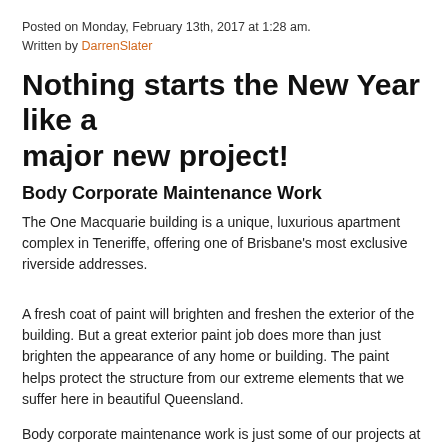Posted on Monday, February 13th, 2017 at 1:28 am.
Written by DarrenSlater
Nothing starts the New Year like a major new project!
Body Corporate Maintenance Work
The One Macquarie building is a unique, luxurious apartment complex in Teneriffe, offering one of Brisbane's most exclusive riverside addresses.
A fresh coat of paint will brighten and freshen the exterior of the building. But a great exterior paint job does more than just brighten the appearance of any home or building. The paint helps protect the structure from our extreme elements that we suffer here in beautiful Queensland.
Body corporate maintenance work is just some of our projects at Darren Slater Painting & Decorating — and we’d like to paint...